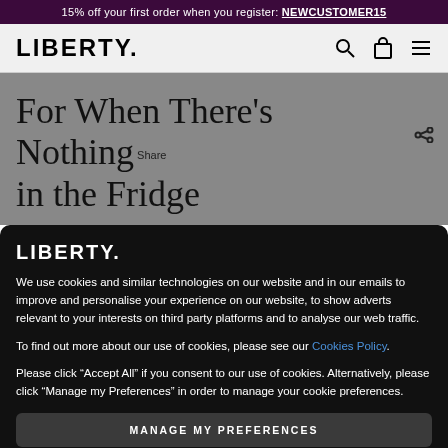15% off your first order when you register: NEWCUSTOMER15
[Figure (logo): LIBERTY. logo in black text with search, bag, and menu icons in navigation bar]
For When There’s Nothing in the Fridge
[Figure (logo): LIBERTY. logo in white text on black cookie consent overlay]
We use cookies and similar technologies on our website and in our emails to improve and personalise your experience on our website, to show adverts relevant to your interests on third party platforms and to analyse our web traffic.
To find out more about our use of cookies, please see our Cookies Policy.
Please click “Accept All” if you consent to our use of cookies. Alternatively, please click “Manage my Preferences” in order to manage your cookie preferences.
MANAGE MY PREFERENCES